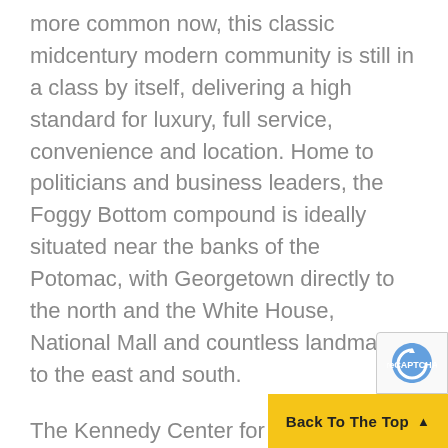more common now, this classic midcentury modern community is still in a class by itself, delivering a high standard for luxury, full service, convenience and location. Home to politicians and business leaders, the Foggy Bottom compound is ideally situated near the banks of the Potomac, with Georgetown directly to the north and the White House, National Mall and countless landmarks to the east and south.
The Kennedy Center for the Performing Arts is right across the street from Watergate South while George Washington University and the Foggy Bottom Metro Station are just a 10-minute walk away. The on-site proximity of the Watergate Hotel is also a bonus when friends and guests come to town. This is a very walk-friendly locale, whether strolling south to the Lincoln Memorial and other landmarks and pa…